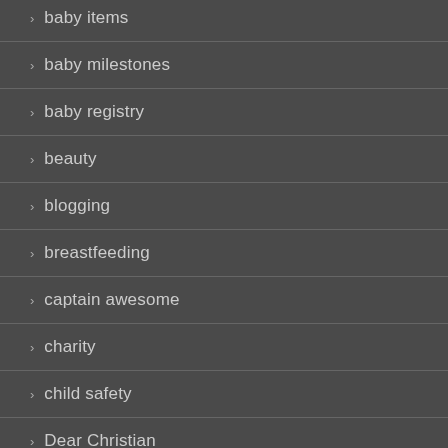baby items
baby milestones
baby registry
beauty
blogging
breastfeeding
captain awesome
charity
child safety
Dear Christian
Dear Hop Hop
Dear Tarra